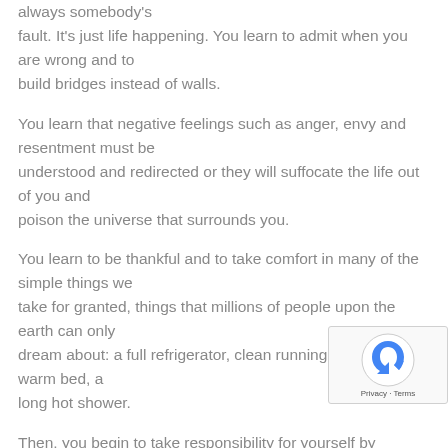always somebody's fault. It's just life happening. You learn to admit when you are wrong and to build bridges instead of walls.
You learn that negative feelings such as anger, envy and resentment must be understood and redirected or they will suffocate the life out of you and poison the universe that surrounds you.
You learn to be thankful and to take comfort in many of the simple things we take for granted, things that millions of people upon the earth can only dream about: a full refrigerator, clean running water, a soft warm bed, a long hot shower.
Then, you begin to take responsibility for yourself by yourself